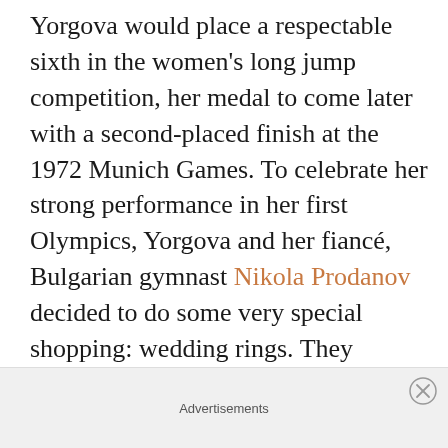Yorgova would place a respectable sixth in the women's long jump competition, her medal to come later with a second-placed finish at the 1972 Munich Games. To celebrate her strong performance in her first Olympics, Yorgova and her fiancé, Bulgarian gymnast Nikola Prodanov decided to do some very special shopping: wedding rings. They planned to hold their big day after their graduation from Sofia University on Prodanov's birthday in May of 1965.

That same day, the couple went to visit the
Advertisements